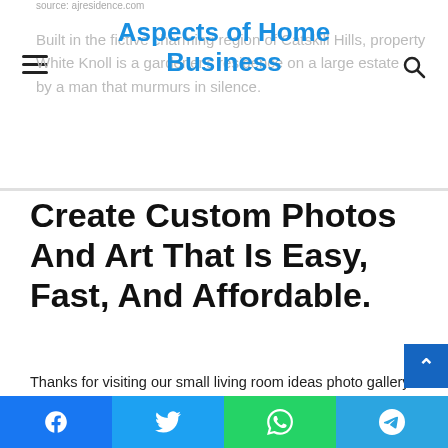source: ajresidence.com
Aspects of Home Business
Built in the fictive charming region of Catskill Hills, property White Knoll is a gardener's residence on a large estate by a man that murmurs in silence.
Create Custom Photos And Art That Is Easy, Fast, And Affordable.
Thanks for visiting our small living room ideas photo gallery where you can search hundreds of small living room design ideas. Simple white walls and open upper shelving visually expand the home's tiny kitchen. Choosing small living room decor can be tricky, as you don't want to go overboard.